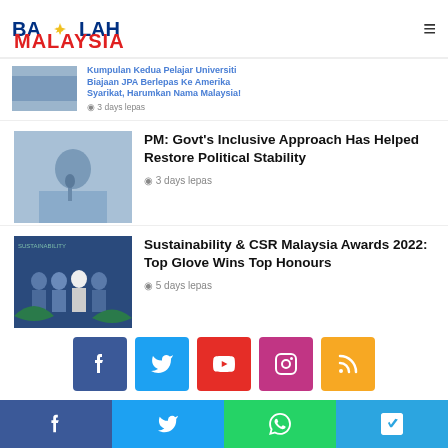Bacolah Malaysia
Kumpulan Kedua Pelajar Universiti Biajaan JPA Berlepas Ke Amerika Syarikat, Harumkan Nama Malaysia! — 3 days lepas
PM: Govt's Inclusive Approach Has Helped Restore Political Stability
3 days lepas
Sustainability & CSR Malaysia Awards 2022: Top Glove Wins Top Honours
5 days lepas
[Figure (other): Social media share buttons: Facebook, Twitter, YouTube, Instagram, RSS]
Paling Popular
Share bar: Facebook, Twitter, WhatsApp, Telegram